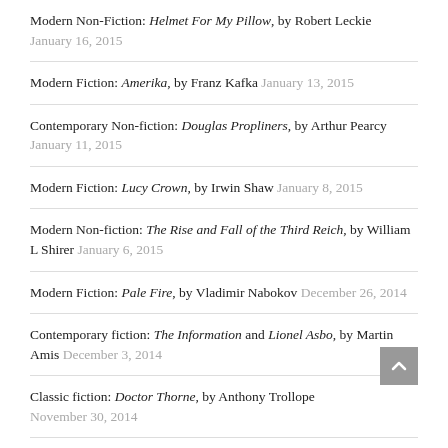Modern Non-Fiction: Helmet For My Pillow, by Robert Leckie January 16, 2015
Modern Fiction: Amerika, by Franz Kafka January 13, 2015
Contemporary Non-fiction: Douglas Propliners, by Arthur Pearcy January 11, 2015
Modern Fiction: Lucy Crown, by Irwin Shaw January 8, 2015
Modern Non-fiction: The Rise and Fall of the Third Reich, by William L Shirer January 6, 2015
Modern Fiction: Pale Fire, by Vladimir Nabokov December 26, 2014
Contemporary fiction: The Information and Lionel Asbo, by Martin Amis December 3, 2014
Classic fiction: Doctor Thorne, by Anthony Trollope November 30, 2014
Modern non-fiction: The Other Nuremberg: The Untold Story